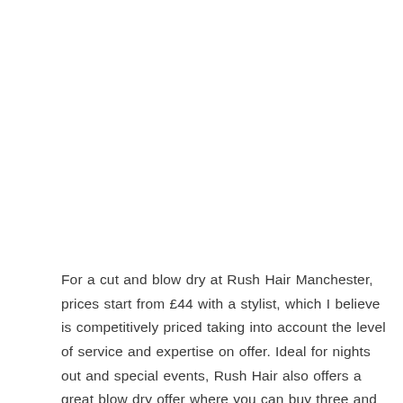For a cut and blow dry at Rush Hair Manchester, prices start from £44 with a stylist, which I believe is competitively priced taking into account the level of service and expertise on offer. Ideal for nights out and special events, Rush Hair also offers a great blow dry offer where you can buy three and receive a